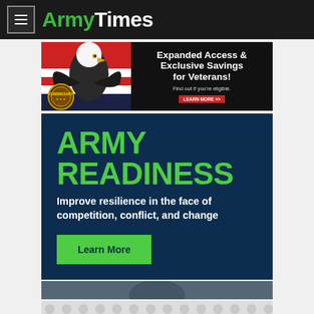ArmyTimes
[Figure (illustration): Commissary advertisement banner: bald eagle with American flag background, text 'Expanded Access & Exclusive Savings for Veterans! Find out if you're eligible. LEARN MORE >>']
[Figure (infographic): Army Readiness promotional card on dark navy background with green title text 'ARMY READINESS', subtitle 'Improve resilience in the face of competition, conflict, and change', and a green Learn More button]
[Figure (photo): Partial photo of a person (bottom of page teaser image)]
[Figure (illustration): Gray circular pattern advertisement placeholder at bottom of page]